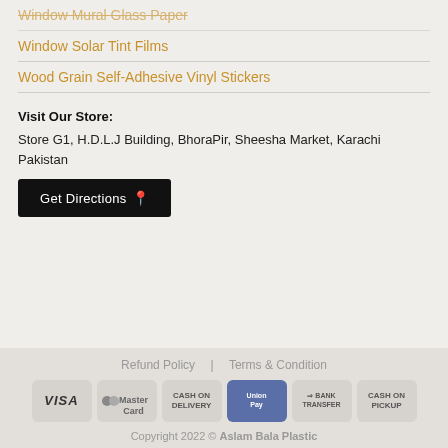Window Mural Glass Paper
Window Solar Tint Films
Wood Grain Self-Adhesive Vinyl Stickers
Visit Our Store:
Store G1, H.D.L.J Building, BhoraPir, Sheesha Market, Karachi Pakistan
[Figure (other): Black button with text Get Directions and a map pin icon]
Refund Policy | Terms & Condition
VISA | MasterCard | CASH ON DELIVERY | UnionPay | BANK TRANSFER | CASH ON PICKUP
Copyright 2022 © Aslam Bala Plastic